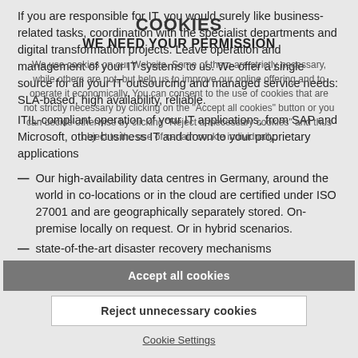If you are responsible for IT, you would surely like business-related tasks, coordination with the specialist departments and digital transformation projects. Leave operation and management of your IT systems to us. We offer a single source for all your IT outsourcing and managed service needs: SLA-based, high availability, reliable.
ITIL-compliant operation of your IT applications, from SAP and Microsoft, other business IT and down to your proprietary applications
Our high-availability data centres in Germany, around the world in co-locations or in the cloud are certified under ISO 27001 and are geographically separately stored. On-premise locally on request. Or in hybrid scenarios.
state-of-the-art disaster recovery mechanisms
COOKIES
WE NEED YOUR PERMISSION
We use cookies on our Website. Some of them are strictly necessary, while others are not, but help us to improve our online offering and to operate it economically. You can consent to the use of cookies that are not strictly necessary by clicking on the "Accept all cookies" button or you can decide otherwise by clicking "Reject unnecessary cookies" and thus object to the use of certain cookie individually.
Accept all cookies
Reject unnecessary cookies
Cookie Settings